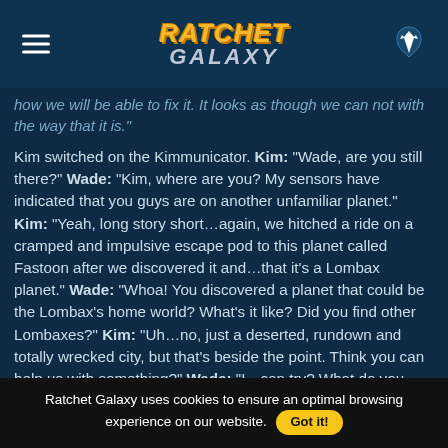RATCHET GALAXY
how we will be able to fix it. It looks as though we can not with the way that it is."
Kim switched on the Kimmunicator. Kim: "Wade, are you still there?" Wade: "Kim, where are you? My sensors have indicated that you guys are on another unfamiliar planet." Kim: "Yeah, long story short...again, we hitched a ride on a cramped and impulsive escape pod to this planet called Fastoon after we discovered it and...that it's a Lombax planet." Wade: "Whoa! You discovered a planet that could be the Lombax's home world? What's it like? Did you find other Lombaxes?" Kim: "Uh...no, just a deserted, rundown and totally wrecked city, but that's beside the point. Think you can help us with something?" Wade: "I...can try? What do you need?" Kim: "Well, Ratchet managed to find a very old Lombax ship and he seems to be very adamant with repairing it. Do you think it's doable?" Wade: "Let me take a look at it."
Ratchet Galaxy uses cookies to ensure an optimal browsing experience on our website. Got it!